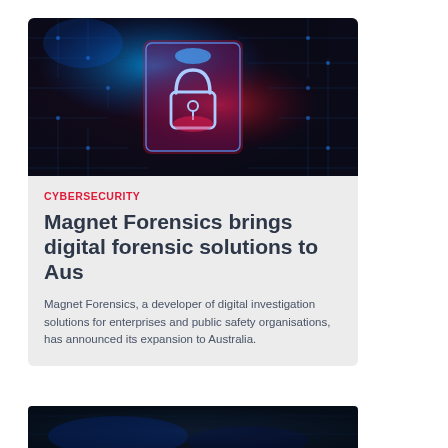[Figure (photo): Cybersecurity themed image showing a glowing padlock on a circuit board with blue and red lighting effects]
CYBERSECURITY
Magnet Forensics brings digital forensic solutions to Aus
Magnet Forensics, a developer of digital investigation solutions for enterprises and public safety organisations, has announced its expansion to Australia.
[Figure (photo): Partial view of another article image at the bottom of the page, dark blue tones]